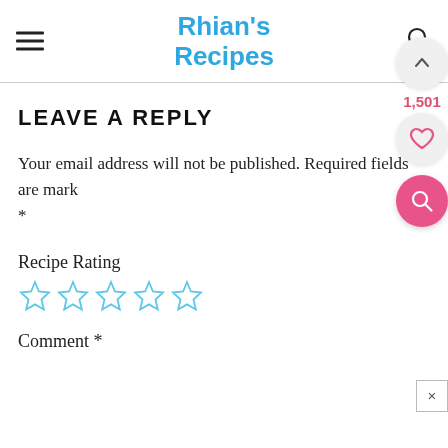Rhian's Recipes
LEAVE A REPLY
Your email address will not be published. Required fields are marked *
Recipe Rating
[Figure (other): Five empty star rating icons in blue outline style]
Comment *